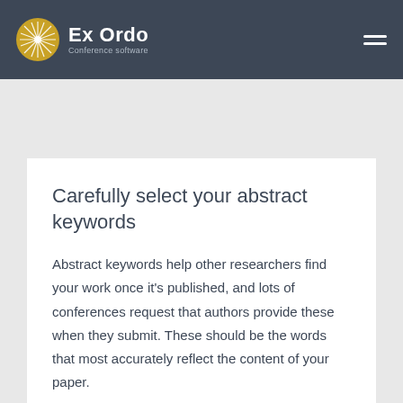Ex Ordo Conference software
Carefully select your abstract keywords
Abstract keywords help other researchers find your work once it's published, and lots of conferences request that authors provide these when they submit. These should be the words that most accurately reflect the content of your paper.